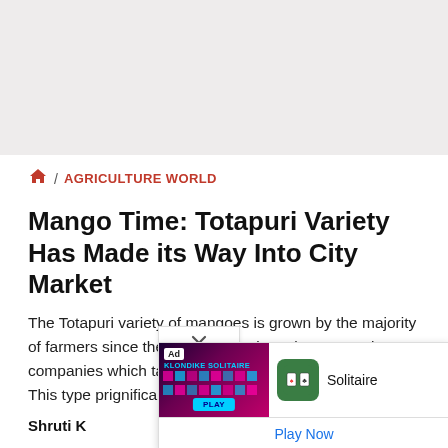[Figure (other): Top gray banner area, likely an advertisement placeholder]
AGRICULTURE WORLD
Mango Time: Totapuri Variety Has Made its Way Into City Market
The Totapuri variety of mangoes is grown by the majority of farmers since there are approximately 50-60 pulp companies which take large quantities of these fruits. This type pr...ignificant benefits to farmers.
Shruti K...
[Figure (screenshot): Ad overlay showing Klondike Solitaire game advertisement with play now button]